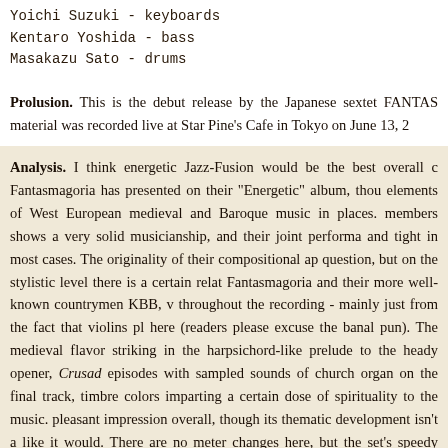Yoichi Suzuki - keyboards
Kentaro Yoshida - bass
Masakazu Sato - drums
Prolusion. This is the debut release by the Japanese sextet FANTAS material was recorded live at Star Pine's Cafe in Tokyo on June 13, 2
Analysis. I think energetic Jazz-Fusion would be the best overall c Fantasmagoria has presented on their "Energetic" album, thou elements of West European medieval and Baroque music in places. members shows a very solid musicianship, and their joint performa and tight in most cases. The originality of their compositional ap question, but on the stylistic level there is a certain relat Fantasmagoria and their more well-known countrymen KBB, v throughout the recording - mainly just from the fact that violins pl here (readers please excuse the banal pun). The medieval flavor striking in the harpsichord-like prelude to the heady opener, Crusad episodes with sampled sounds of church organ on the final track, timbre colors imparting a certain dose of spirituality to the music. pleasant impression overall, though its thematic development isn't a like it would. There are no meter changes here, but the set's speedy conjunction with the band's rapid, jazz-inflected maneuvers (pa second half of the piece), makes the piece sound surprisingly exe anxious in mood and is more diverse and complex than the prece being especially notable for amazingly complicated, exclusive